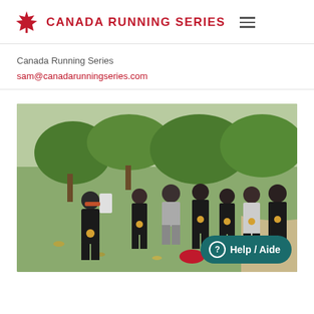CANADA RUNNING SERIES
Canada Running Series
sam@canadarunningseries.com
[Figure (photo): Group of runners wearing black shirts and race medals taking a selfie in a park after a Canada Running Series event. One person in front is leaning toward camera taking the photo, others posing behind on grass with trees in background.]